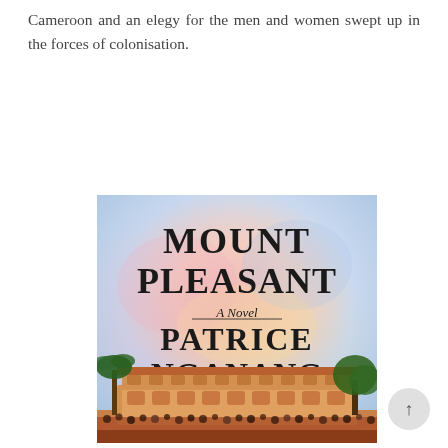Cameroon and an elegy for the men and women swept up in the forces of colonisation.
[Figure (photo): Book cover of 'Mount Pleasant: A Novel' by Patrice Nganang, translated by Amy Baram Reid. The cover shows large bold serif text for the title 'MOUNT PLEASANT' and the author's name 'PATRICE NGANANG' against a soft pastel watercolor background of pinks, blues and peaches. Below the author name it reads 'Translated by AMY BARAM REID' in italic/serif text. The bottom portion of the cover shows a colonial-era building (mansion/palace) with arches and a crowd of people in front, flanked by palm trees and green trees.]